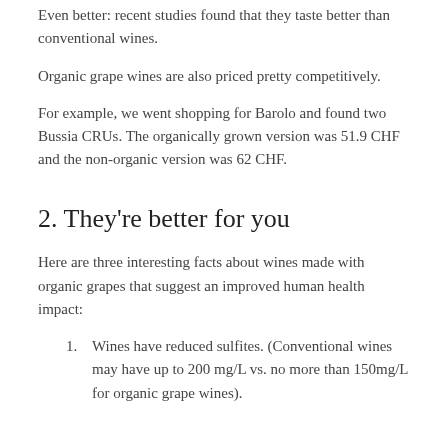Even better: recent studies found that they taste better than conventional wines.
Organic grape wines are also priced pretty competitively.
For example, we went shopping for Barolo and found two Bussia CRUs. The organically grown version was 51.9 CHF and the non-organic version was 62 CHF.
2. They're better for you
Here are three interesting facts about wines made with organic grapes that suggest an improved human health impact:
Wines have reduced sulfites. (Conventional wines may have up to 200 mg/L vs. no more than 150mg/L for organic grape wines).